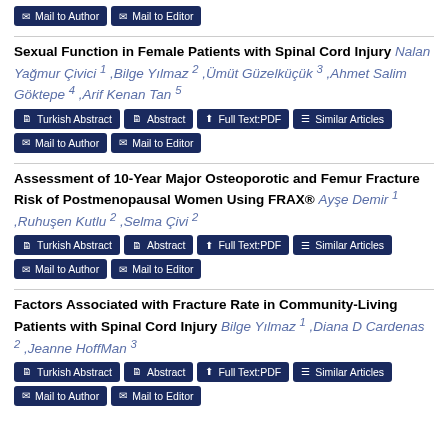Mail to Author | Mail to Editor
Sexual Function in Female Patients with Spinal Cord Injury Nalan Yağmur Çivici 1 ,Bilge Yılmaz 2 ,Ümüt Güzelküçük 3 ,Ahmet Salim Göktepe 4 ,Arif Kenan Tan 5
Turkish Abstract | Abstract | Full Text:PDF | Similar Articles | Mail to Author | Mail to Editor
Assessment of 10-Year Major Osteoporotic and Femur Fracture Risk of Postmenopausal Women Using FRAX® Ayşe Demir 1 ,Ruhuşen Kutlu 2 ,Selma Çivi 2
Turkish Abstract | Abstract | Full Text:PDF | Similar Articles | Mail to Author | Mail to Editor
Factors Associated with Fracture Rate in Community-Living Patients with Spinal Cord Injury Bilge Yılmaz 1 ,Diana D Cardenas 2 ,Jeanne HoffMan 3
Turkish Abstract | Abstract | Full Text:PDF | Similar Articles | Mail to Author | Mail to Editor